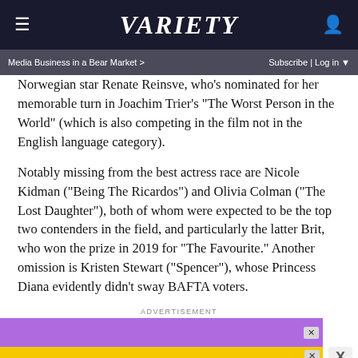VARIETY
Media Business in a Bear Market > Subscribe | Log in
Norwegian star Renate Reinsve, who's nominated for her memorable turn in Joachim Trier's "The Worst Person in the World" (which is also competing in the film not in the English language category).
Notably missing from the best actress race are Nicole Kidman (“Being The Ricardos”) and Olivia Colman (“The Lost Daughter”), both of whom were expected to be the top two contenders in the field, and particularly the latter Brit, who won the prize in 2019 for “The Favourite.” Another omission is Kristen Stewart (“Spencer”), whose Princess Diana evidently didn’t sway BAFTA voters.
ADVERTISEMENT
[Figure (other): Advertisement banner: purple top bar with close X, and yellow bottom bar reading ADJUSTABLE DUMBBELLS SPY TESTED & REVIEWED with SPY logo and diagonal slash]